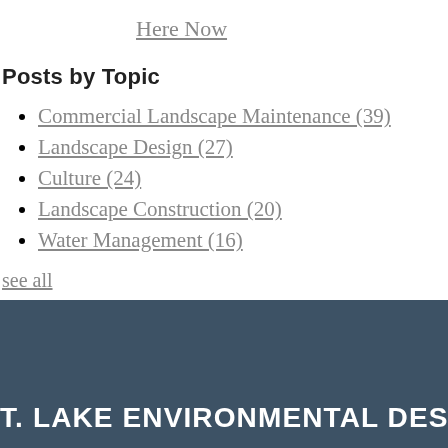Here Now
Posts by Topic
Commercial Landscape Maintenance (39)
Landscape Design (27)
Culture (24)
Landscape Construction (20)
Water Management (16)
see all
T. LAKE ENVIRONMENTAL DESIGN